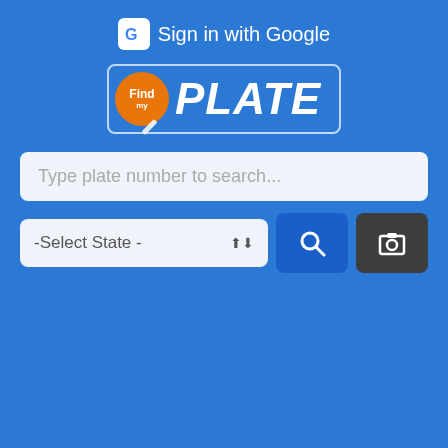[Figure (screenshot): FindMyPlate app screenshot showing a blue hero section with Google Sign In button, FindMyPlate logo, a plate number search input, a state selector dropdown, a search button, and a camera button. Below the hero is a list of US states as links: Iowa, Idaho, Illinois, Indiana, Kansas, Kentucky, Louisiana, Massachusetts, Maryland, Maine (partial).]
Iowa
Idaho
Illinois
Indiana
Kansas
Kentucky
Louisiana
Massachusetts
Maryland